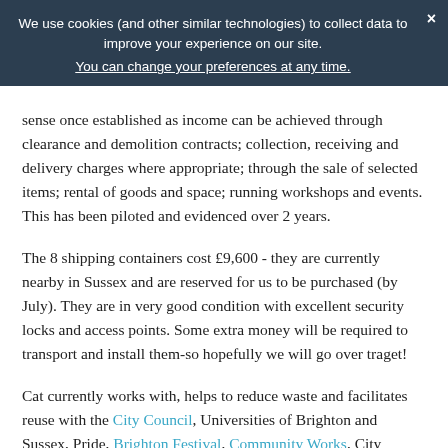We use cookies (and other similar technologies) to collect data to improve your experience on our site. You can change your preferences at any time. ×
sense once established as income can be achieved through clearance and demolition contracts; collection, receiving and delivery charges where appropriate; through the sale of selected items; rental of goods and space; running workshops and events. This has been piloted and evidenced over 2 years.
The 8 shipping containers cost £9,600 - they are currently nearby in Sussex and are reserved for us to be purchased (by July). They are in very good condition with excellent security locks and access points. Some extra money will be required to transport and install them-so hopefully we will go over traget!
Cat currently works with, helps to reduce waste and facilitates reuse with the City Council, Universities of Brighton and Sussex, Pride, Brighton Festival, Community Works, City College, Lantern Fayre, Silo (Europe's first zero